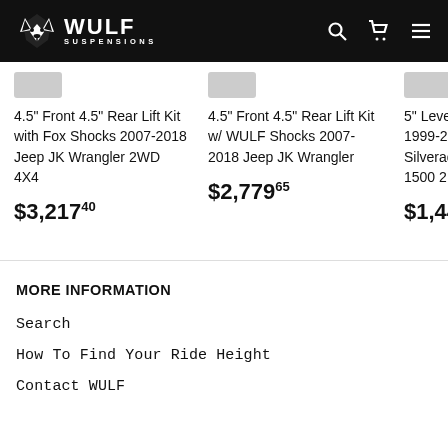WULF SUSPENSIONS
4.5" Front 4.5" Rear Lift Kit with Fox Shocks 2007-2018 Jeep JK Wrangler 2WD 4X4
$3,217.40
4.5" Front 4.5" Rear Lift Kit w/ WULF Shocks 2007-2018 Jeep JK Wrangler
$2,779.65
5" Leve 1999-2 Silverad 1500 2…
$1,44…
MORE INFORMATION
Search
How To Find Your Ride Height
Contact WULF